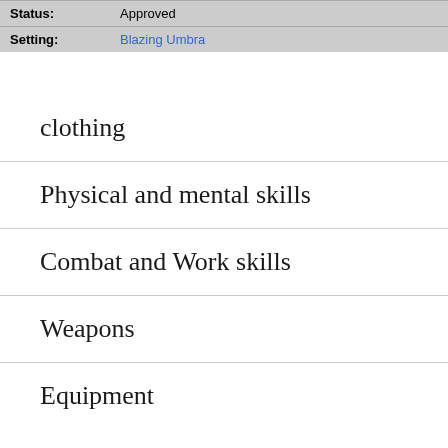| Field | Value |
| --- | --- |
| Status: | Approved |
| Setting: | Blazing Umbra |
clothing
Physical and mental skills
Combat and Work skills
Weapons
Equipment